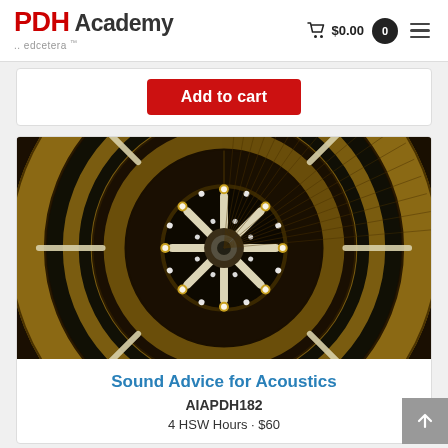PDH Academy .. edcetera
Add to cart
[Figure (photo): Overhead view of a concert hall or auditorium ceiling featuring concentric circular panels in gold/amber tones with radiating lighting fixtures arranged in a spoke pattern, viewed from below looking up.]
Sound Advice for Acoustics
AIAPDH182
4 HSW Hours · $60